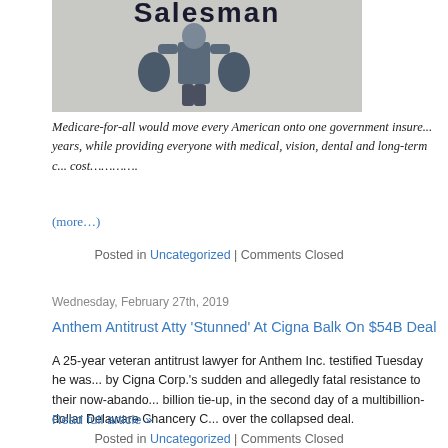[Figure (illustration): Grayscale illustration of a salesman silhouette carrying two bags, with 'Salesman' text partially visible at the top]
Medicare-for-all would move every American onto one government insure... years, while providing everyone with medical, vision, dental and long-term c... cost………….
(more…)
Posted in Uncategorized | Comments Closed
Wednesday, February 27th, 2019
Anthem Antitrust Atty 'Stunned' At Cigna Balk On $54B Deal
A 25-year veteran antitrust lawyer for Anthem Inc. testified Tuesday he was... by Cigna Corp.'s sudden and allegedly fatal resistance to their now-abando... billion tie-up, in the second day of a multibillion-dollar Delaware Chancery C... over the collapsed deal.
Read full article »
Posted in Uncategorized | Comments Closed